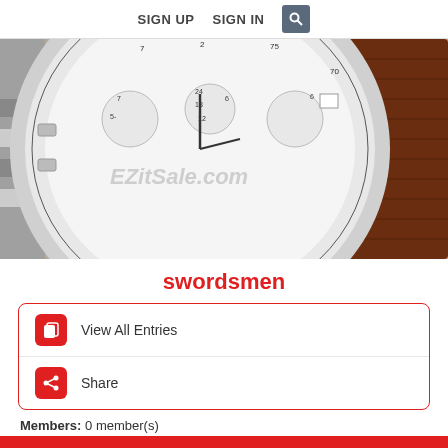SIGN UP  SIGN IN  🔍
[Figure (photo): Close-up photo of a luxury chronograph watch with white dial showing sub-dials and tachymeter scale, with brown leather strap and silver case. EZitSale.com watermark visible on the dial.]
swordsmen
View All Entries
Share
Members: 0 member(s)